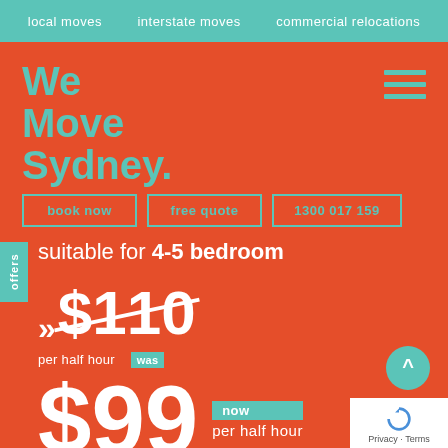local moves   interstate moves   commercial relocations
We Move Sydney.
book now
free quote
1300 017 159
offers
suitable for 4-5 bedroom
$110 per half hour  was
$99 now per half hour